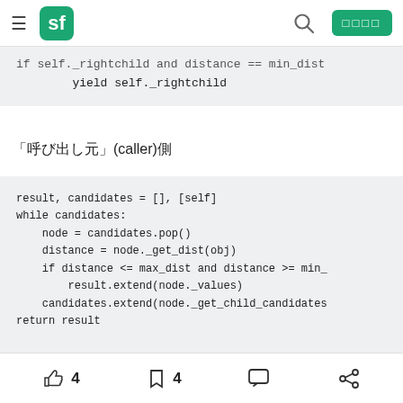sf  [Japanese characters](caller)[Japanese character]
if self._rightchild and distance == min_dist
    yield self._rightchild
「呼び出し元」(caller)側
result, candidates = [], [self]
while candidates:
    node = candidates.pop()
    distance = node._get_dist(obj)
    if distance <= max_dist and distance >= min_
        result.extend(node._values)
    candidates.extend(node._get_child_candidates
return result
4  4